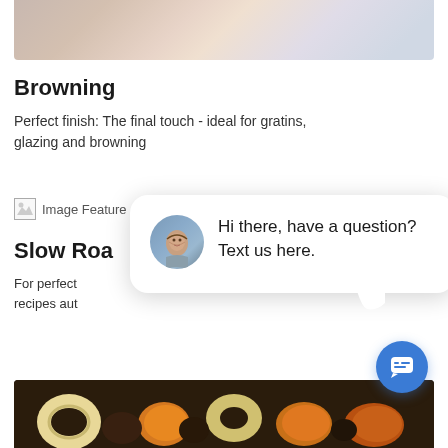[Figure (photo): Top portion of food photo showing baked dishes in white baking dishes with colorful food]
Browning
Perfect finish: The final touch - ideal for gratins, glazing and browning
[Figure (illustration): Image Feature placeholder icon]
Slow Roa
For perfect ... recipes aut
[Figure (screenshot): Chat popup with avatar of a woman and text: Hi there, have a question? Text us here.]
[Figure (photo): Bottom portion showing dried fruit slices including apple rings and apricots on a dark baking tray]